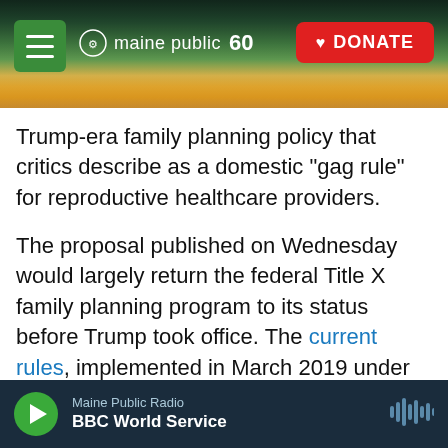[Figure (screenshot): Maine Public Radio website header with navigation bar showing hamburger menu, Maine Public 60 logo, and red DONATE button, over a scenic landscape photo with sunrise/sunset over hills and water]
Trump-era family planning policy that critics describe as a domestic "gag rule" for reproductive healthcare providers.
The proposal published on Wednesday would largely return the federal Title X family planning program to its status before Trump took office. The current rules, implemented in March 2019 under Trump, forbid any provider who provides or refers patients for abortions from receiving federal funding through Title X to cover services such as contraception and STD screenings for low-income people.
Maine Public Radio | BBC World Service